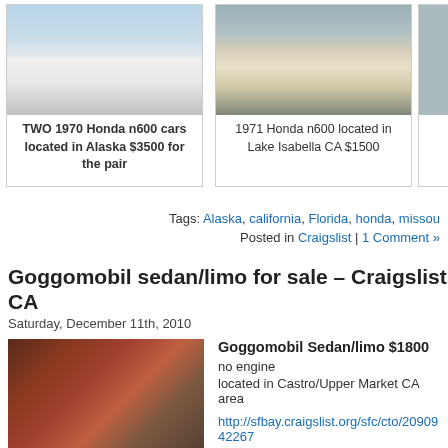[Figure (photo): White Honda N600 car, two cars in Alaska listing, $3500 for the pair]
TWO 1970 Honda n600 cars located in Alaska $3500 for the pair
[Figure (photo): White 1971 Honda N600 located in Lake Isabella CA]
1971 Honda n600 located in Lake Isabella CA $1500
Tags: Alaska, california, Florida, honda, missou
Posted in Craigslist | 1 Comment »
Goggomobil sedan/limo for sale – Craigslist CA
Saturday, December 11th, 2010
[Figure (photo): Goggomobil sedan/limo barn find, red/rust interior, partially stripped body]
Goggomobil Sedan/limo $1800
no engine
located in Castro/Upper Market CA area
http://sfbay.craigslist.org/sfc/cto/2090942267...
if the link does not work, the listing has expir...
Tags: california, goggomobil
Posted in Craigslist, goggomobil | Comments Off on Goggomobil sed...